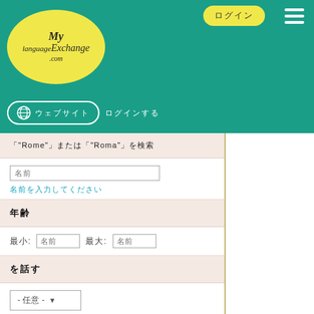[Figure (logo): MyLanguageExchange.com logo in yellow oval on teal header]
ログイン (login button) and navigation with globe icon and links
「Rome」または「Roma」で検索
名前
名前を入力してください
年齢
最小: □□ 最大: □□
を話す
- 任意 -
を学んでいる
- 任意 -
キーワードで検索する